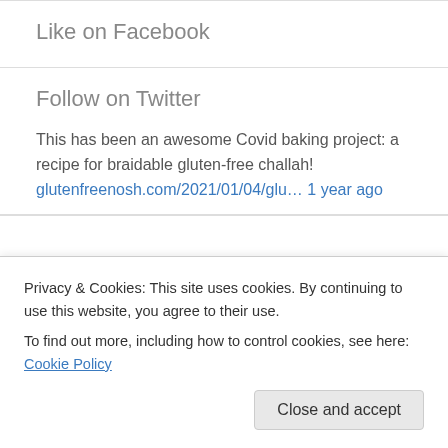Like on Facebook
Follow on Twitter
This has been an awesome Covid baking project: a recipe for braidable gluten-free challah! glutenfreenosh.com/2021/01/04/glu… 1 year ago
Popular Tags
Privacy & Cookies: This site uses cookies. By continuing to use this website, you agree to their use.
To find out more, including how to control cookies, see here: Cookie Policy